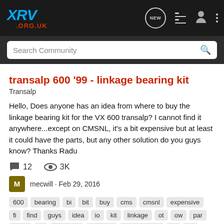XRV .ORG.UK
transalp 600 '99 - linkage bearing kit
Transalp
Hello, Does anyone has an idea from where to buy the linkage bearing kit for the VX 600 transalp? I cannot find it anywhere...except on CMSNL, it's a bit expensive but at least it could have the parts, but any other solution do you guys know? Thanks Radu
12  3K
mecwill · Feb 29, 2016
600  bearing  bi  bit  buy  cms  cmsnl  expensive  fi  find  guys  idea  io  kit  linkage  ot  ow  par  parts  ra  solution  transalp  transalp 600  vx  yo